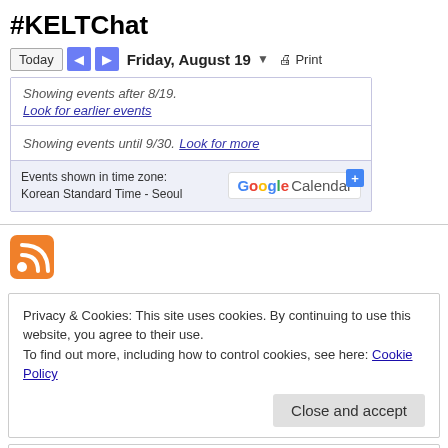#KELTChat
Today | < | > | Friday, August 19 ▾ | Print
Showing events after 8/19. Look for earlier events
Showing events until 9/30. Look for more
Events shown in time zone: Korean Standard Time - Seoul
[Figure (logo): Google Calendar badge with blue plus button]
[Figure (logo): RSS feed icon - orange square with white RSS symbol]
Privacy & Cookies: This site uses cookies. By continuing to use this website, you agree to their use.
To find out more, including how to control cookies, see here: Cookie Policy
Close and accept
Enter your email address